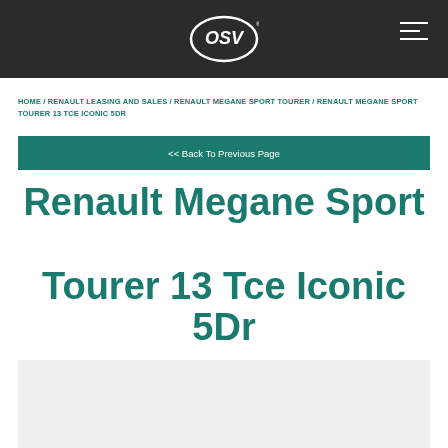OSV
HOME / RENAULT LEASING AND SALES / RENAULT MEGANE SPORT TOURER / RENAULT MEGANE SPORT TOURER 13 TCE ICONIC 5DR
<< Back To Previous Page
Renault Megane Sport Tourer 13 Tce Iconic 5Dr